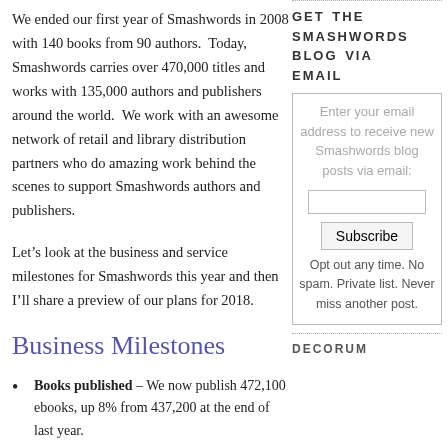We ended our first year of Smashwords in 2008 with 140 books from 90 authors.  Today, Smashwords carries over 470,000 titles and works with 135,000 authors and publishers around the world.  We work with an awesome network of retail and library distribution partners who do amazing work behind the scenes to support Smashwords authors and publishers.
Let’s look at the business and service milestones for Smashwords this year and then I’ll share a preview of our plans for 2018.
Business Milestones
Books published – We now publish 472,100 ebooks, up 8% from 437,200 at the end of last year.
Words published – We now publish 16.8 billion words, up 1.2 billion or 7.5% from 15.6 billion a year ago.
Authors/pen names served – We now publish
GET THE SMASHWORDS BLOG VIA EMAIL
Enter your email address to receive new Smashwords blog posts via email:
Opt out any time. No spam. Private list. Never miss another post.
DECORUM